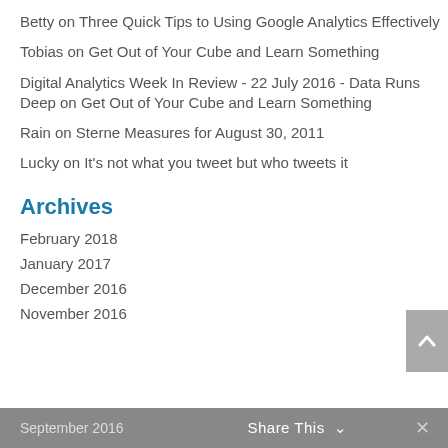Betty on Three Quick Tips to Using Google Analytics Effectively
Tobias on Get Out of Your Cube and Learn Something
Digital Analytics Week In Review - 22 July 2016 - Data Runs Deep on Get Out of Your Cube and Learn Something
Rain on Sterne Measures for August 30, 2011
Lucky on It's not what you tweet but who tweets it
Archives
February 2018
January 2017
December 2016
November 2016
September 2016   Share This ∨   ×